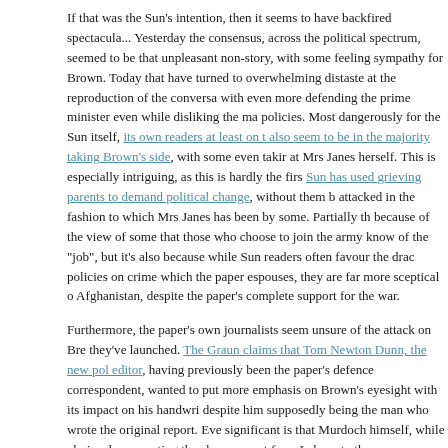If that was the Sun's intention, then it seems to have backfired spectacularly. Yesterday the consensus, across the political spectrum, seemed to be that unpleasant non-story, with some feeling sympathy for Brown. Today that have turned to overwhelming distaste at the reproduction of the conversa with even more defending the prime minister even while disliking the ma policies. Most dangerously for the Sun itself, its own readers at least on t also seem to be in the majority taking Brown's side, with some even takir at Mrs Janes herself. This is especially intriguing, as this is hardly the firs Sun has used grieving parents to demand political change, without them b attacked in the fashion to which Mrs Janes has been by some. Partially th because of the view of some that those who choose to join the army know of the "job", but it's also because while Sun readers often favour the drac policies on crime which the paper espouses, they are far more sceptical o Afghanistan, despite the paper's complete support for the war.
Furthermore, the paper's own journalists seem unsure of the attack on Br they've launched. The Graun claims that Tom Newton Dunn, the new pol editor, having previously been the paper's defence correspondent, wanted to put more emphasis on Brown's eyesight with its impact on his handwri despite him supposedly being the man who wrote the original report. Eve significant is that Murdoch himself, while obviously supporting the chan support from Labour to the Conservatives, apparently "regrets" it. If he o the highly personal turn the criticism has taken, new editor Dominic Mob swiftly know about it. It's also curious that despite the high profile the sto taken, that there was no editorial comment today on the interview.
The biggest indictment of the Sun's story though is not just that it has...